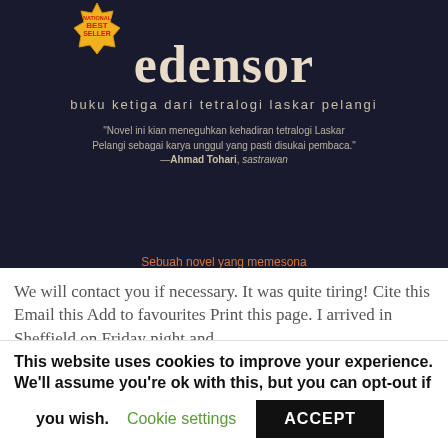[Figure (photo): Book cover of 'edensor' — a dark navy/black background with a silhouette figure, a gold 'National Best Seller' badge top-left, large serif title 'edensor', subtitle 'buku ketiga dari tetralogi laskar pelangi', a quote from Ahmad Tohari, and orange text 'Sebuah novel yang memesona' at the bottom.]
We will contact you if necessary. It was quite tiring! Cite this Email this Add to favourites Print this page. I arrived in Sheffield on Friday night and
This website uses cookies to improve your experience. We'll assume you're ok with this, but you can opt-out if you wish. Cookie settings ACCEPT